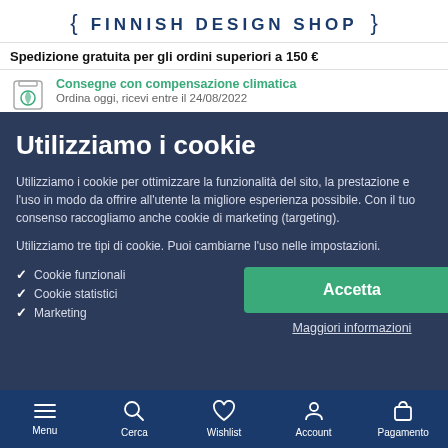{ FINNISH DESIGN SHOP }
Spedizione gratuita per gli ordini superiori a 150 €
Consegne con compensazione climatica
Ordina oggi, ricevi entre il 24/08/2022
Utilizziamo i cookie
Utilizziamo i cookie per ottimizzare la funzionalità del sito, la prestazione e l'uso in modo da offrire all'utente la migliore esperienza possibile. Con il tuo consenso raccogliamo anche cookie di marketing (targeting).
Utilizziamo tre tipi di cookie. Puoi cambiarne l'uso nelle impostazioni.
Cookie funzionali
Cookie statistici
Marketing
Accetta
Maggiori informazioni
Menu  Cerca  Wishlist  Account  Pagamento